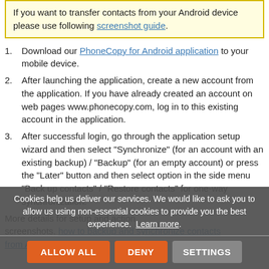If you want to transfer contacts from your Android device please use following screenshot guide.
1. Download our PhoneCopy for Android application to your mobile device.
2. After launching the application, create a new account from the application. If you have already created an account on web pages www.phonecopy.com, log in to this existing account in the application.
3. After successful login, go through the application setup wizard and then select "Synchronize" (for an account with an existing backup) / "Backup" (for an empty account) or press the "Later" button and then select option in the side menu "Back up contacts" / "Restore contacts" for one-way synchronization.
More details for setup and action screenshots. how to backup and synchronize contacts from Android...
Cookies help us deliver our services. We would like to ask you to allow us using non-essential cookies to provide you the best experience. Learn more.
ALLOW ALL   DENY   SETTINGS